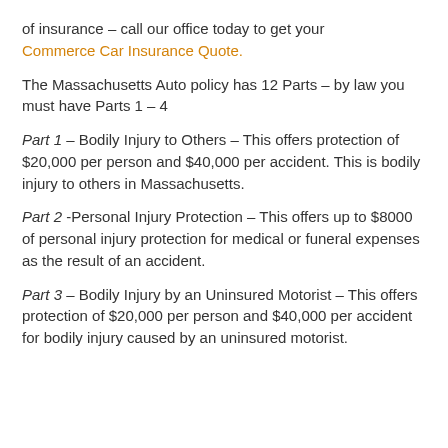of insurance – call our office today to get your Commerce Car Insurance Quote.
The Massachusetts Auto policy has 12 Parts – by law you must have Parts 1 – 4
Part 1 – Bodily Injury to Others – This offers protection of $20,000 per person and $40,000 per accident. This is bodily injury to others in Massachusetts.
Part 2 -Personal Injury Protection – This offers up to $8000 of personal injury protection for medical or funeral expenses as the result of an accident.
Part 3 – Bodily Injury by an Uninsured Motorist – This offers protection of $20,000 per person and $40,000 per accident for bodily injury caused by an uninsured motorist.